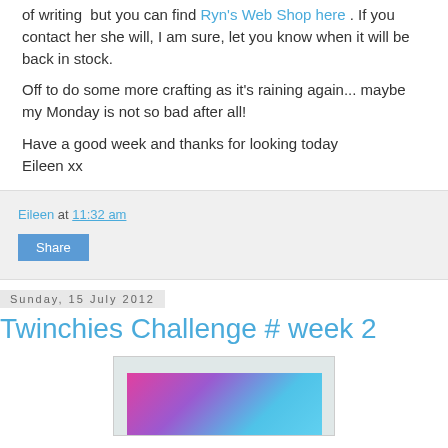of writing  but you can find Ryn's Web Shop here . If you contact her she will, I am sure, let you know when it will be back in stock.
Off to do some more crafting as it's raining again... maybe my Monday is not so bad after all!
Have a good week and thanks for looking today
Eileen xx
Eileen at 11:32 am
Share
Sunday, 15 July 2012
Twinchies Challenge # week 2
[Figure (photo): Colorful pink, purple, and blue abstract painted artwork photograph]